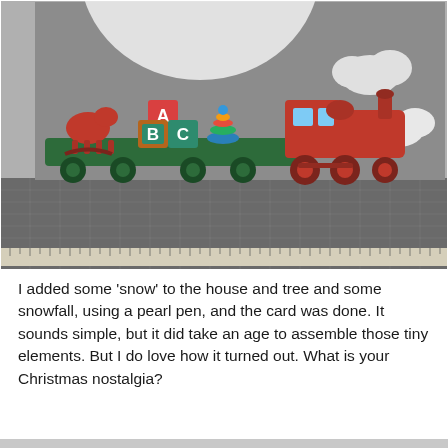[Figure (photo): A close-up photograph of a handmade Christmas card on a grey cutting mat with a ruler. The card features a toy train (red locomotive) pulling a green flatcar loaded with toy blocks spelling A, B, C, a red rocking horse, and a stacking ring toy. White cloud and moon shapes are visible on the grey card background. A grid cutting mat and ruler are visible underneath.]
I added some 'snow' to the house and tree and some snowfall, using a pearl pen, and the card was done. It sounds simple, but it did take an age to assemble those tiny elements. But I do love how it turned out. What is your Christmas nostalgia?